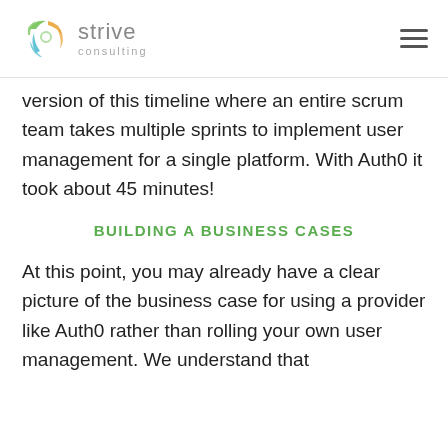strive consulting
version of this timeline where an entire scrum team takes multiple sprints to implement user management for a single platform. With Auth0 it took about 45 minutes!
BUILDING A BUSINESS CASES
At this point, you may already have a clear picture of the business case for using a provider like Auth0 rather than rolling your own user management. We understand that